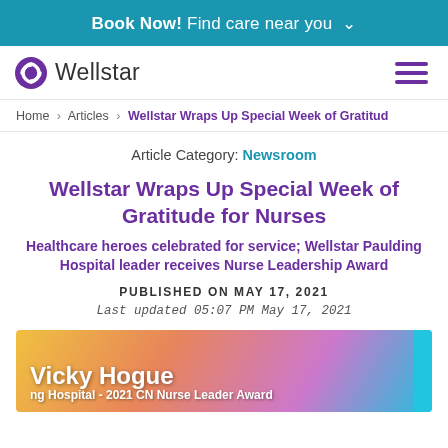Book Now! Find care near you
[Figure (logo): Wellstar logo with purple swirl icon and hamburger menu]
Home › Articles › Wellstar Wraps Up Special Week of Gratitude
Article Category: Newsroom
Wellstar Wraps Up Special Week of Gratitude for Nurses
Healthcare heroes celebrated for service; Wellstar Paulding Hospital leader receives Nurse Leadership Award
PUBLISHED ON MAY 17, 2021
Last updated 05:07 PM May 17, 2021
[Figure (photo): Vicky Hogue - Paulding Hospital 2021 CN Nurse Leader Award banner image]